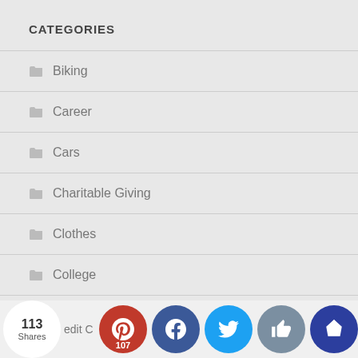CATEGORIES
Biking
Career
Cars
Charitable Giving
Clothes
College
Coronavirus Pandemic